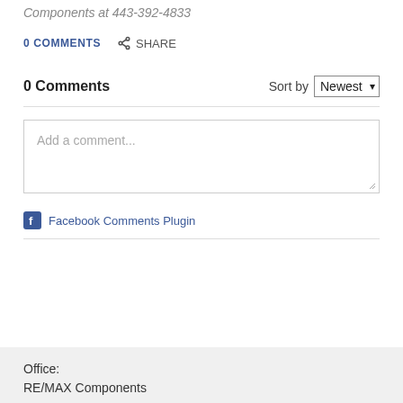Components at 443-392-4833
0 COMMENTS   SHARE
0 Comments   Sort by Newest
[Figure (other): Comment input text area with placeholder text 'Add a comment...' and a resize handle.]
Facebook Comments Plugin
Office:
RE/MAX Components